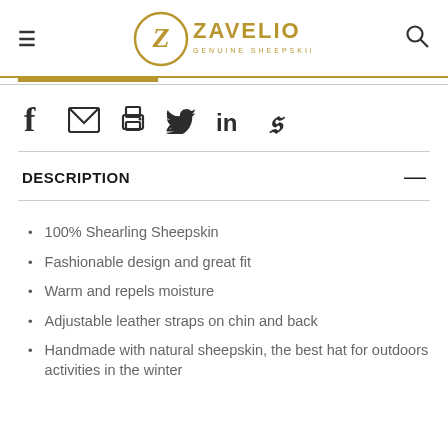Zavelio Genuine Sheepskin
[Figure (logo): Zavelio Genuine Sheepskin logo with a Z in a circle and brand name]
[Figure (infographic): Social share icons: Facebook, Email, Print, Twitter, LinkedIn, Pinterest]
DESCRIPTION
100% Shearling Sheepskin
Fashionable design and great fit
Warm and repels moisture
Adjustable leather straps on chin and back
Handmade with natural sheepskin, the best hat for outdoors activities in the winter